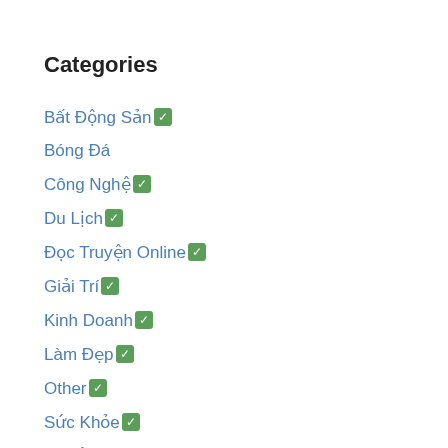Categories
Bất Động Sản ✓
Bóng Đá
Công Nghệ ✓
Du Lịch ✓
Đọc Truyện Online ✓
Giải Trí ✓
Kinh Doanh ✓
Làm Đẹp ✓
Other ✓
Sức Khỏe ✓
Truyện
Tử vi
Uncategorized
Xổ Số